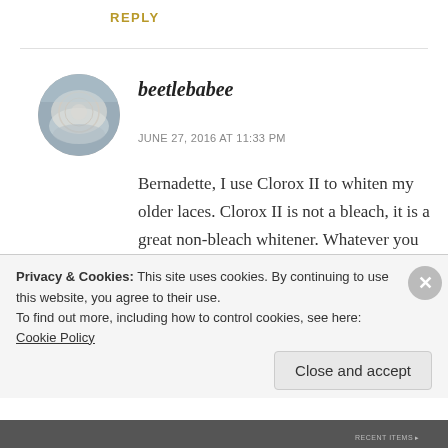REPLY
[Figure (photo): Circular avatar image of a white lace doily or fabric]
beetlebabee
JUNE 27, 2016 AT 11:33 PM
Bernadette, I use Clorox II to whiten my older laces. Clorox II is not a bleach, it is a great non-bleach whitener. Whatever you do, don't use bleach. Getting a piece of lace clean takes pre-soaking and gentle hand
Privacy & Cookies: This site uses cookies. By continuing to use this website, you agree to their use.
To find out more, including how to control cookies, see here: Cookie Policy
Close and accept